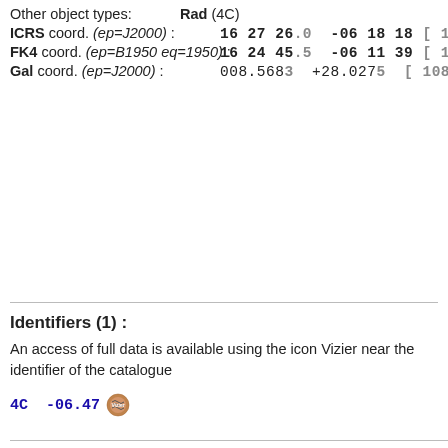Other object types: Rad (4C)
ICRS coord. (ep=J2000) : 16 27 26.0 -06 18 18 [ 108
FK4 coord. (ep=B1950 eq=1950) : 16 24 45.5 -06 11 39 [ 108
Gal coord. (ep=J2000) : 008.5683 +28.0275 [ 1080008
Identifiers (1) :
An access of full data is available using the icon Vizier near the identifier of the catalogue
4C -06.47 [Vizier icon]